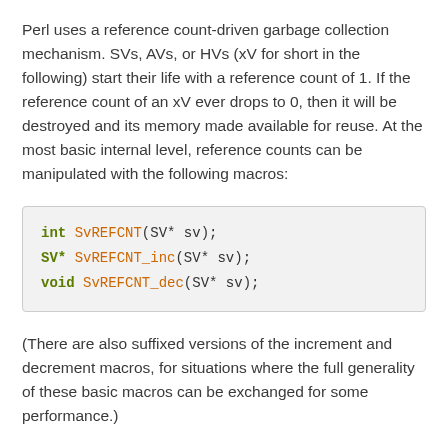Perl uses a reference count-driven garbage collection mechanism. SVs, AVs, or HVs (xV for short in the following) start their life with a reference count of 1. If the reference count of an xV ever drops to 0, then it will be destroyed and its memory made available for reuse. At the most basic internal level, reference counts can be manipulated with the following macros:
[Figure (screenshot): Code block showing three C function declarations: int SvREFCNT(SV* sv); SV* SvREFCNT_inc(SV* sv); void SvREFCNT_dec(SV* sv);]
(There are also suffixed versions of the increment and decrement macros, for situations where the full generality of these basic macros can be exchanged for some performance.)
However, the way a programmer should think about references is not so much in terms of the bare reference count, but in terms of ownership of references. A reference to an xV can be owned by any of a variety of